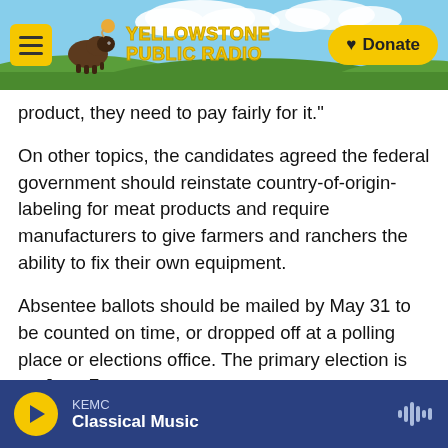[Figure (screenshot): Yellowstone Public Radio website header with hamburger menu button, bison logo, YELLOWSTONE PUBLIC RADIO text, and yellow Donate button, on a sky/grass background]
product, they need to pay fairly for it."
On other topics, the candidates agreed the federal government should reinstate country-of-origin-labeling for meat products and require manufacturers to give farmers and ranchers the ability to fix their own equipment.
Absentee ballots should be mailed by May 31 to be counted on time, or dropped off at a polling place or elections office. The primary election is on June 7.
Copyright 2022 Montana Public Radio. To see
KEMC Classical Music